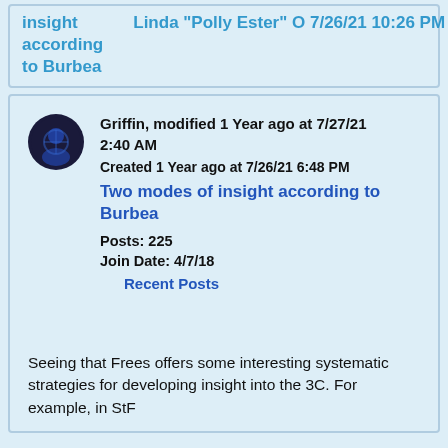insight according to Burbea
Linda "Polly Ester" O 7/26/21 10:26 PM
Griffin, modified 1 Year ago at 7/27/21 2:40 AM
Created 1 Year ago at 7/26/21 6:48 PM
Two modes of insight according to Burbea
Posts: 225
Join Date: 4/7/18
Recent Posts
Seeing that Frees offers some interesting systematic strategies for developing insight into the 3C. For example, in StF